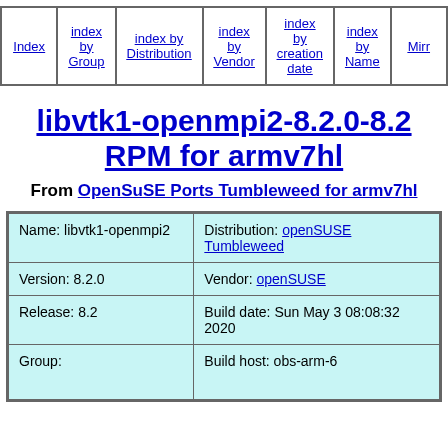Index | index by Group | index by Distribution | index by Vendor | index by creation date | index by Name | Mirror
libvtk1-openmpi2-8.2.0-8.2 RPM for armv7hl
From OpenSuSE Ports Tumbleweed for armv7hl
| Name: libvtk1-openmpi2 | Distribution: openSUSE Tumbleweed |
| Version: 8.2.0 | Vendor: openSUSE |
| Release: 8.2 | Build date: Sun May 3 08:08:32 2020 |
| Group: | Build host: obs-arm-6 |